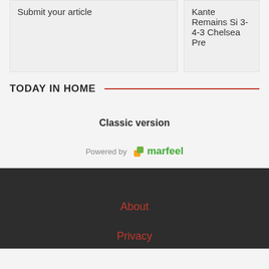Submit your article
Kante Remains Si 3-4-3 Chelsea Pre
TODAY IN HOME
Classic version
Powered by marfeel
About
Privacy